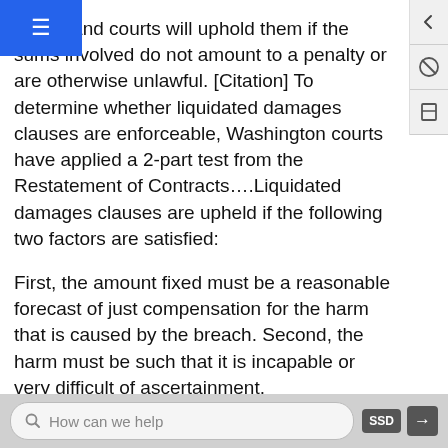ngton, and courts will uphold them if the sums involved do not amount to a penalty or are otherwise unlawful. [Citation] To determine whether liquidated damages clauses are enforceable, Washington courts have applied a 2-part test from the Restatement of Contracts….Liquidated damages clauses are upheld if the following two factors are satisfied:
First, the amount fixed must be a reasonable forecast of just compensation for the harm that is caused by the breach. Second, the harm must be such that it is incapable or very difficult of ascertainment.
The question before this court is whether this test is to be applied as of the time of contract formation (prospectively) or as of the time of trial
How can we help